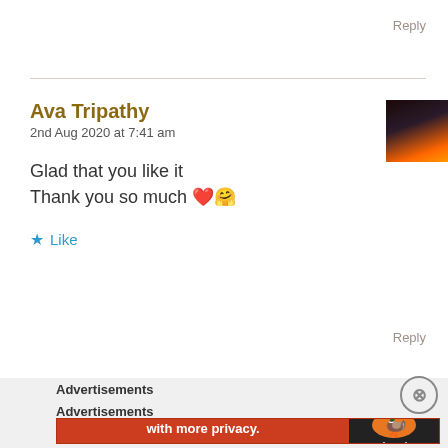Reply
Ava Tripathy
2nd Aug 2020 at 7:41 am
[Figure (photo): Small thumbnail avatar showing a silhouette against an orange/red sky background]
Glad that you like it
Thank you so much ❤️🤗
★ Like
Reply
Advertisements
Advertisements
[Figure (screenshot): DuckDuckGo advertisement banner: 'Search, browse, and email with more privacy. All in One Free App' with DuckDuckGo logo on right side]